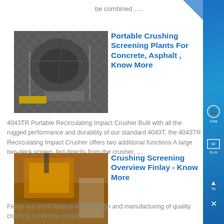be combined ,....
[Figure (photo): Industrial crushing/screening machinery inside a facility with yellow safety barriers]
Portable Crushing Screening Plants For Concrete, Asphalt , Know More
4043TR Portable Recirculating Impact Crusher Built with all the rugged performance and durability of our standard 4043T, the 4043TR Recirculating Impact Crusher offers two additional functions A large two-deck screen, fed directly from the crusher, ....
[Figure (photo): Yellow heavy crushing/screening equipment outdoors]
Crushing Screening Overview Finlay - Know More
Finlay are world leaders in the design and manufacturing of quality crushing screening equipment....